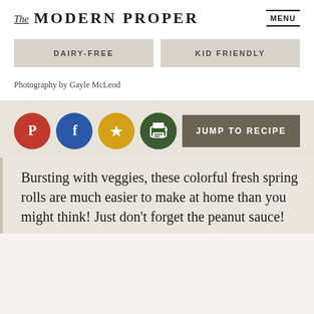The MODERN PROPER
DAIRY-FREE
KID FRIENDLY
Photography by Gayle McLeod
[Figure (infographic): Social sharing icons: Pinterest (red circle), Facebook (blue circle), Bookmark star (gold circle), Print (green circle), and a JUMP TO RECIPE button]
Bursting with veggies, these colorful fresh spring rolls are much easier to make at home than you might think! Just don't forget the peanut sauce!